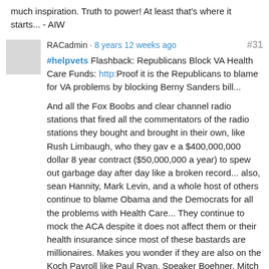much inspiration. Truth to power! At least that's where it starts... - AIW
RACadmin · 8 years 12 weeks ago  #31
#helpvets Flashback: Republicans Block VA Health Care Funds: http:Proof it is the Republicans to blame for VA problems by blocking Berny Sanders bill...

And all the Fox Boobs and clear channel radio stations that fired all the commentators of the radio stations they bought and brought in their own, like Rush Limbaugh, who they gav e a $400,000,000 dollar 8 year contract ($50,000,000 a year) to spew out garbage day after day like a broken record... also, sean Hannity, Mark Levin, and a whole host of others continue to blame Obama and the Democrats for all the problems with Health Care... They continue to mock the ACA despite it does not affect them or their health insurance since most of these bastards are millionaires. Makes you wonder if they are also on the Koch Payroll like Paul Ryan, Speaker Boehner, Mitch M. and all the Tea Party shills that got elected into the